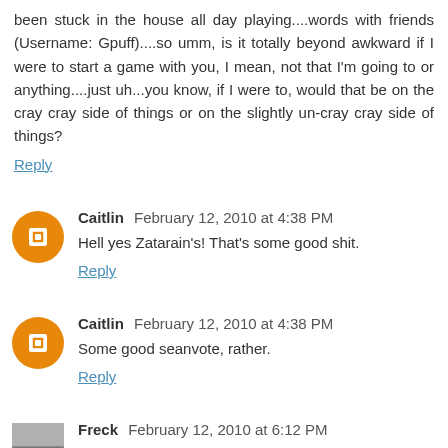been stuck in the house all day playing....words with friends (Username: Gpuff)....so umm, is it totally beyond awkward if I were to start a game with you, I mean, not that I'm going to or anything....just uh...you know, if I were to, would that be on the cray cray side of things or on the slightly un-cray cray side of things?
Reply
Caitlin February 12, 2010 at 4:38 PM
Hell yes Zatarain's! That's some good shit.
Reply
Caitlin February 12, 2010 at 4:38 PM
Some good seanvote, rather.
Reply
Freck February 12, 2010 at 6:12 PM